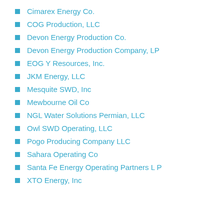Cimarex Energy Co.
COG Production, LLC
Devon Energy Production Co.
Devon Energy Production Company, LP
EOG Y Resources, Inc.
JKM Energy, LLC
Mesquite SWD, Inc
Mewbourne Oil Co
NGL Water Solutions Permian, LLC
Owl SWD Operating, LLC
Pogo Producing Company LLC
Sahara Operating Co
Santa Fe Energy Operating Partners L P
XTO Energy, Inc